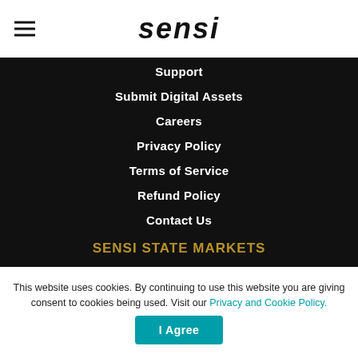sensi
Support
Submit Digital Assets
Careers
Privacy Policy
Terms of Service
Refund Policy
Contact Us
SENSI STATE MARKETS
CALIFORNIA
COLORADO
FLORIDA
MASSACHUSETTS
This website uses cookies. By continuing to use this website you are giving consent to cookies being used. Visit our Privacy and Cookie Policy.